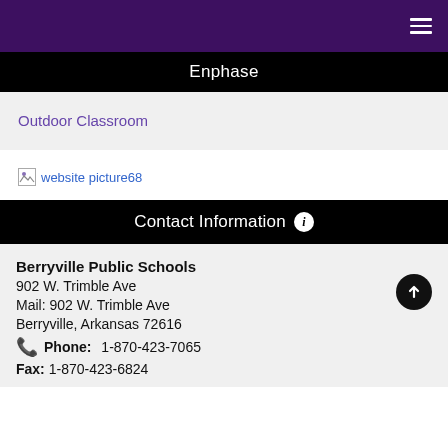Navigation bar with hamburger menu
Enphase
Outdoor Classroom
[Figure (photo): Broken image placeholder: website picture68]
Contact Information
Berryville Public Schools
902 W. Trimble Ave
Mail: 902 W. Trimble Ave
Berryville, Arkansas 72616
Phone: 1-870-423-7065
Fax: 1-870-423-6824